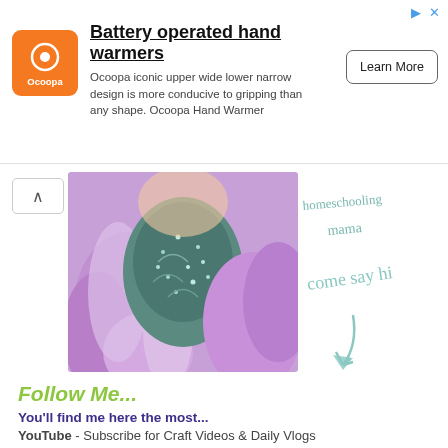[Figure (other): Advertisement banner for Ocoopa battery operated hand warmers with orange logo, product description, and Learn More button]
[Figure (photo): Blog header image showing a person with purple/lavender wavy hair wearing a sparkly teal outfit, with handwritten text 'homeschooling mama come say hi' and a hand-drawn arrow]
Follow Me...
You'll find me here the most...
YouTube - Subscribe for Craft Videos & Daily Vlogs
Instagram - I respond to comments often!
Facebook - Share your projects and make suggestions!
Pinterest - Currently pinning Jax's party ideas.
Daily Vlogs
[youtube-feed]